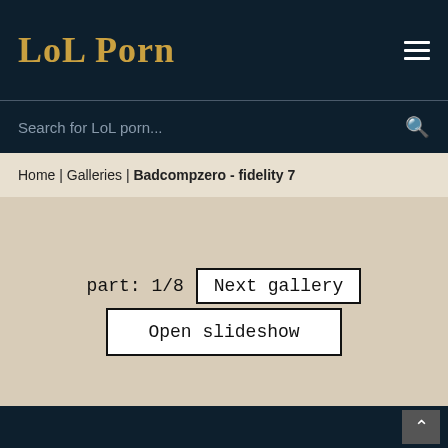LoL Porn
Search for LoL porn...
Home | Galleries | Badcompzero - fidelity 7
part: 1/8  Next gallery
Open slideshow
[Figure (illustration): Anime-style illustration of a red-haired female character in a suggestive pose with a warm golden/orange background. Watermark text reads BADCOMP, Patreon.COM/BADCOMPZERO, BADCOMPZERO.Tumblr.com]